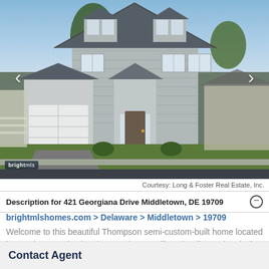[Figure (photo): Exterior photo of a two-story gray semi-custom Thompson home with white garage door, covered front entry, lush lawn and trees, in Crossland at the Canal, Middletown DE]
Courtesy: Long & Foster Real Estate, Inc.
Description for 421 Georgiana Drive Middletown, DE 19709
brightmlshomes.com > Delaware > Middletown > 19709
Welcome to this beautiful Thompson semi-custom-built home located in popular Crossland at the Canal.Â You will not be disappointed when you enter this spacious home. There is hardwood flooring throughout the first floor, a nicely appointed study with French doors and a dining room as you
Contact Agent